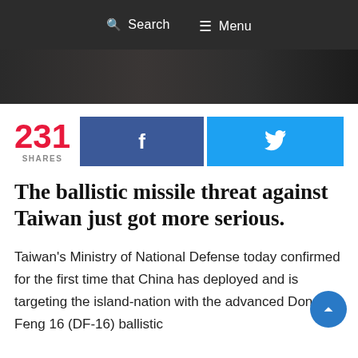[Figure (photo): Dark header with navigation bar showing Search and Menu options, and a dark vehicle image strip below]
Search   Menu
231 SHARES
The ballistic missile threat against Taiwan just got more serious.
Taiwan's Ministry of National Defense today confirmed for the first time that China has deployed and is targeting the island-nation with the advanced Dong Feng 16 (DF-16) ballistic